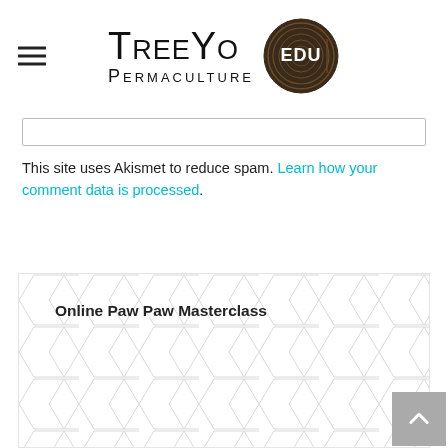[Figure (logo): TreeYo Permaculture EDU logo with tree ring circle badge]
This site uses Akismet to reduce spam. Learn how your comment data is processed.
Online Paw Paw Masterclass